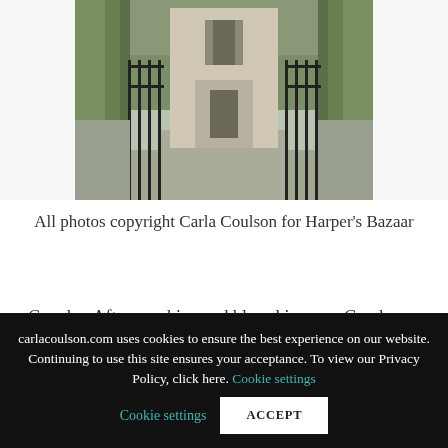[Figure (photo): Photograph of an ivy-covered stone building with ornate iron gates and a driveway, surrounded by lush green vegetation and overcast sky]
All photos copyright Carla Coulson for Harper's Bazaar
Gawd… After sunshine and blue skies on a Greek Island it's hard to fly back into Paris to rain and 22 degrees but coming home to this story published in this months Australian Harper's Bazaar
carlacoulson.com uses cookies to ensure the best experience on our website. Continuing to use this site ensures your acceptance. To view our Privacy Policy, click here. Cookie settings ACCEPT